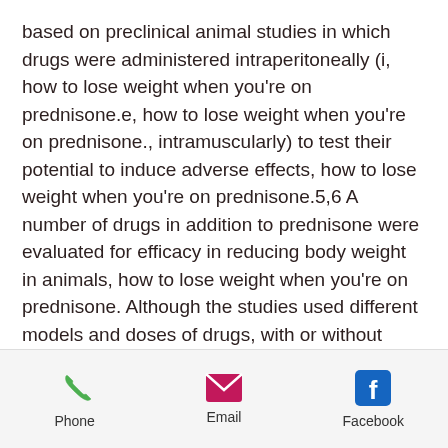based on preclinical animal studies in which drugs were administered intraperitoneally (i, how to lose weight when you're on prednisone.e, how to lose weight when you're on prednisone., intramuscularly) to test their potential to induce adverse effects, how to lose weight when you're on prednisone.5,6 A number of drugs in addition to prednisone were evaluated for efficacy in reducing body weight in animals, how to lose weight when you're on prednisone. Although the studies used different models and doses of drugs, with or without intraperitoneal administration of agents, it was found that most of these drugs could decrease fat-free mass in various animals.7,8
Among the steroid medications, we
[Figure (infographic): Mobile app footer bar with three contact icons: Phone (green phone icon), Email (pink envelope icon), Facebook (blue Facebook icon)]